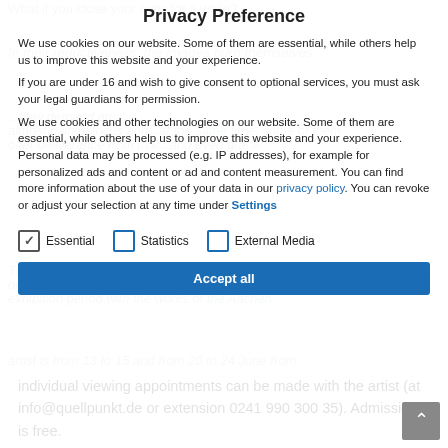Privacy Preference
We use cookies on our website. Some of them are essential, while others help us to improve this website and your experience.
If you are under 16 and wish to give consent to optional services, you must ask your legal guardians for permission.
We use cookies and other technologies on our website. Some of them are essential, while others help us to improve this website and your experience. Personal data may be processed (e.g. IP addresses), for example for personalized ads and content or ad and content measurement. You can find more information about the use of your data in our privacy policy. You can revoke or adjust your selection at any time under Settings
Essential
Statistics
External Media
Accept All
individual viewing appointments can be made with the artist (at info@quellpunkt.de or extension 0241 990 300 35). Admission is free.